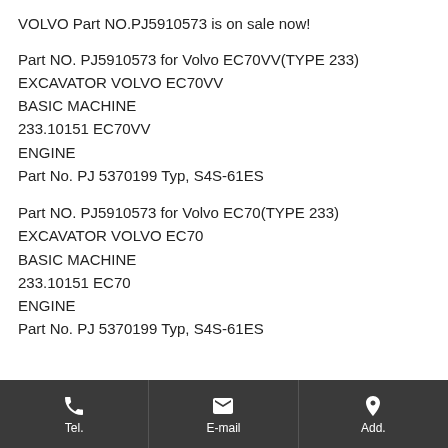VOLVO Part NO.PJ5910573 is on sale now!
Part NO. PJ5910573 for Volvo EC70VV(TYPE 233)
EXCAVATOR VOLVO EC70VV
BASIC MACHINE
233.10151 EC70VV
ENGINE
Part No. PJ 5370199 Typ, S4S-61ES
Part NO. PJ5910573 for Volvo EC70(TYPE 233)
EXCAVATOR VOLVO EC70
BASIC MACHINE
233.10151 EC70
ENGINE
Part No. PJ 5370199 Typ, S4S-61ES
Tel.   E-mail   Add.